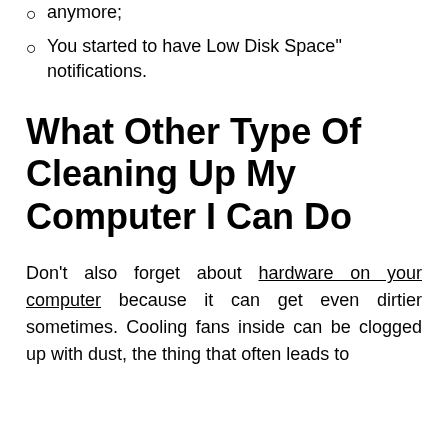anymore;
You started to have Low Disk Space" notifications.
What Other Type Of Cleaning Up My Computer I Can Do
Don't also forget about hardware on your computer because it can get even dirtier sometimes. Cooling fans inside can be clogged up with dust, the thing that often leads to